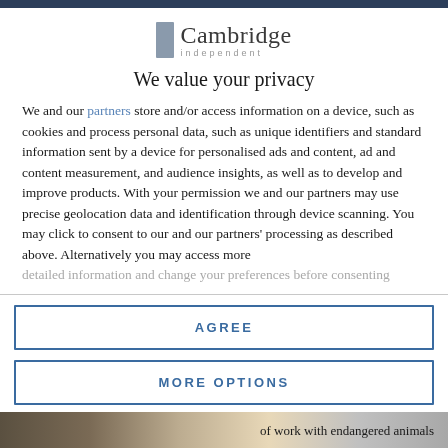[Figure (logo): Cambridge Independent logo with grey rectangle icon and text 'Cambridge' above 'independent']
We value your privacy
We and our partners store and/or access information on a device, such as cookies and process personal data, such as unique identifiers and standard information sent by a device for personalised ads and content, ad and content measurement, and audience insights, as well as to develop and improve products. With your permission we and our partners may use precise geolocation data and identification through device scanning. You may click to consent to our and our partners' processing as described above. Alternatively you may access more detailed information and change your preferences before consenting
AGREE
MORE OPTIONS
[Figure (photo): Partial photo of work with endangered animals, bottom strip visible]